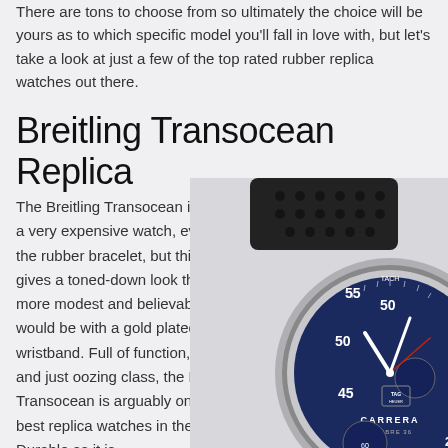There are tons to choose from so ultimately the choice will be yours as to which specific model you'll fall in love with, but let's take a look at just a few of the top rated rubber replica watches out there.
Breitling Transocean Replica
The Breitling Transocean is actually a very expensive watch, even with the rubber bracelet, but this model gives a toned-down look that is more modest and believable than it would be with a gold plated wristband. Full of function, features, and just oozing class, the Breitling Transocean is arguably one of the best replica watches in the world. Durable as it is...
[Figure (photo): Close-up photograph of a TAG Heuer Carrera Calibre watch with a blue chronograph dial, silver case, and black perforated rubber/leather strap, displayed at an angle against a light background.]